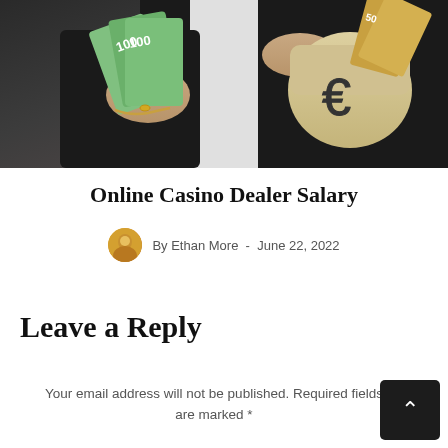[Figure (photo): Person in dark suit holding euro banknotes in left hand and a burlap money bag with euro sign in right hand]
Online Casino Dealer Salary
By Ethan More - June 22, 2022
Leave a Reply
Your email address will not be published. Required fields are marked *